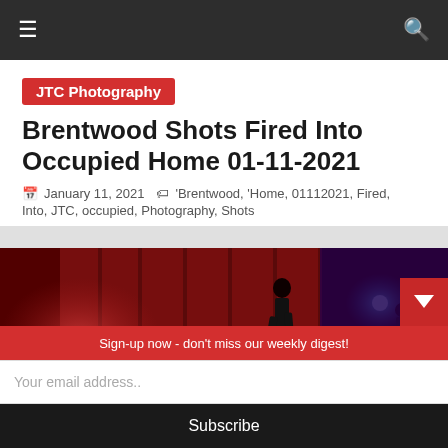JTC Photography
Brentwood Shots Fired Into Occupied Home 01-11-2021
January 11, 2021   'Brentwood, 'Home, 01112021, Fired, Into, JTC, occupied, Photography, Shots
[Figure (photo): Night crime scene photo showing police officers and traffic cones under red and blue emergency lights]
Sign-up now - don't miss our weekly digest!
Your email address..
Subscribe